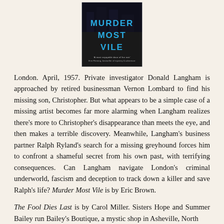[Figure (illustration): Book cover of 'Murder Most Vile' showing a dark background with the title in bold teal/blue letters and a subtitle in small white text.]
London. April, 1957. Private investigator Donald Langham is approached by retired businessman Vernon Lombard to find his missing son, Christopher. But what appears to be a simple case of a missing artist becomes far more alarming when Langham realizes there's more to Christopher's disappearance than meets the eye, and then makes a terrible discovery. Meanwhile, Langham's business partner Ralph Ryland's search for a missing greyhound forces him to confront a shameful secret from his own past, with terrifying consequences. Can Langham navigate London's criminal underworld, fascism and deception to track down a killer and save Ralph's life? Murder Most Vile is by Eric Brown.
The Fool Dies Last is by Carol Miller. Sisters Hope and Summer Bailey run Bailey's Boutique, a mystic shop in Asheville, North